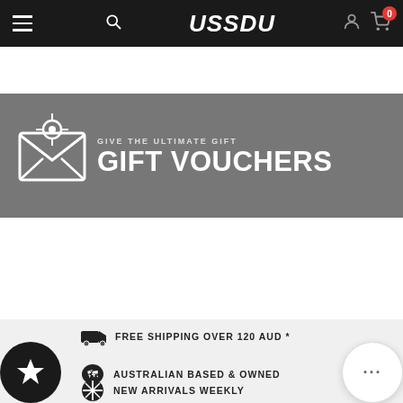USSDU — navigation bar with hamburger menu, search, logo, user icon, cart (0)
[Figure (illustration): Gift voucher banner: grey background with envelope icon and text 'GIVE THE ULTIMATE GIFT VOUCHERS']
[Figure (illustration): Sale banner: red/pink background with sale tag icon and text 'SCORE A BARGAIN SHOP ON SALE']
FREE SHIPPING OVER 120 AUD *
AUSTRALIAN BASED & OWNED
NEW ARRIVALS WEEKLY